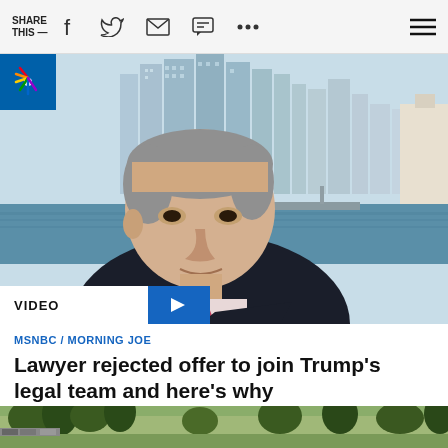SHARE THIS —
[Figure (screenshot): MSNBC news video screenshot of an older man in a dark suit and pink tie, with a Miami waterfront skyline in the background. NBC logo visible top-left. VIDEO play button overlay at bottom-left.]
MSNBC / MORNING JOE
Lawyer rejected offer to join Trump's legal team and here's why
[Figure (photo): Partial bottom image showing trees and outdoor scenery]